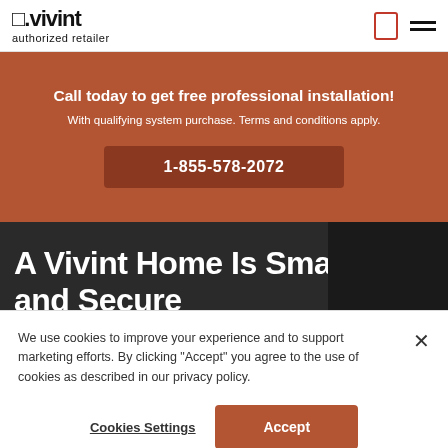Vivint authorized retailer
Call today to get free professional installation!
With qualifying system purchase. Terms and conditions apply.
1-855-578-2072
A Vivint Home Is Smart and Secure
We use cookies to improve your experience and to support marketing efforts. By clicking "Accept" you agree to the use of cookies as described in our privacy policy.
Cookies Settings
Accept